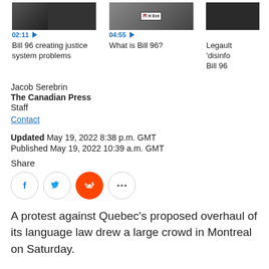[Figure (screenshot): Three video thumbnails with durations and titles: 'Bill 96 creating justice system problems' (02:11), 'What is Bill 96?' (04:55), and 'Legault disinfo Bill 96' (partially visible)]
Jacob Serebrin
The Canadian Press
Staff
Contact
Updated May 19, 2022 8:38 p.m. GMT
Published May 19, 2022 10:39 a.m. GMT
Share
[Figure (infographic): Social share buttons: Facebook, Twitter, Reddit, More (...)]
A protest against Quebec's proposed overhaul of its language law drew a large crowd in Montreal on Saturday.